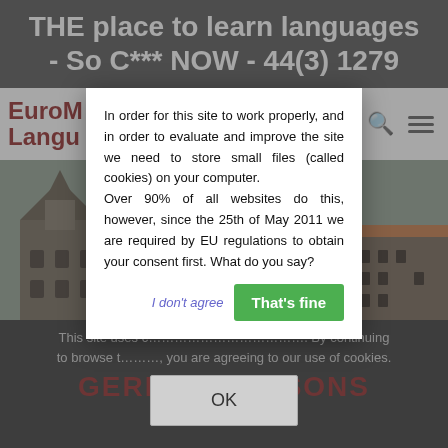THE place to learn languages - So C*** NOW - 44(3) 1279
[Figure (screenshot): EuroLanguages website screenshot showing logo with partial text 'Euro' and 'Langu', search icon, and hamburger menu icon]
[Figure (photo): Photo of a European town square with historic buildings including a church tower and half-timbered houses]
In order for this site to work properly, and in order to evaluate and improve the site we need to store small files (called cookies) on your computer.
Over 90% of all websites do this, however, since the 25th of May 2011 we are required by EU regulations to obtain your consent first. What do you say?
I don't agree
That's fine
This site uses cookies. By continuing to browse this site, you are agreeing to our use of cookies.
GERMAN LESSONS
OK